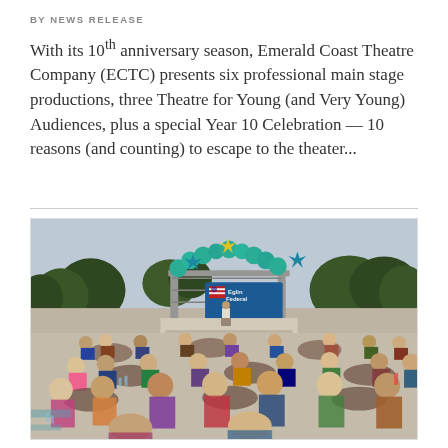BY NEWS RELEASE
With its 10th anniversary season, Emerald Coast Theatre Company (ECTC) presents six professional main stage productions, three Theatre for Young (and Very Young) Audiences, plus a special Year 10 Celebration — 10 reasons (and counting) to escape to the theater...
[Figure (photo): Outdoor event with audience seated at round tables under teal and green balloon arch with 'Eglin Federal' banner; speaker at podium on stage]